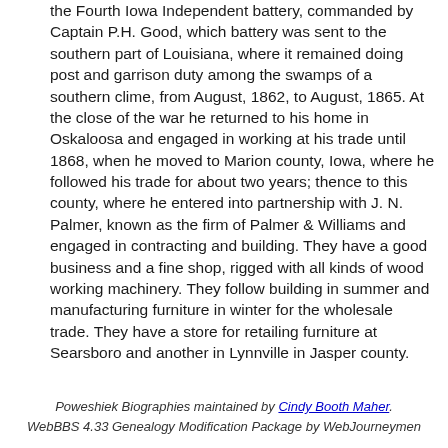the Fourth Iowa Independent battery, commanded by Captain P.H. Good, which battery was sent to the southern part of Louisiana, where it remained doing post and garrison duty among the swamps of a southern clime, from August, 1862, to August, 1865. At the close of the war he returned to his home in Oskaloosa and engaged in working at his trade until 1868, when he moved to Marion county, Iowa, where he followed his trade for about two years; thence to this county, where he entered into partnership with J. N. Palmer, known as the firm of Palmer & Williams and engaged in contracting and building. They have a good business and a fine shop, rigged with all kinds of wood working machinery. They follow building in summer and manufacturing furniture in winter for the wholesale trade. They have a store for retailing furniture at Searsboro and another in Lynnville in Jasper county.
Poweshiek Biographies maintained by Cindy Booth Maher. WebBBS 4.33 Genealogy Modification Package by WebJourneymen